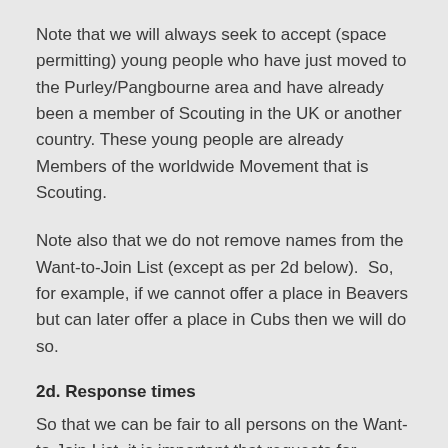Note that we will always seek to accept (space permitting) young people who have just moved to the Purley/Pangbourne area and have already been a member of Scouting in the UK or another country. These young people are already Members of the worldwide Movement that is Scouting.
Note also that we do not remove names from the Want-to-Join List (except as per 2d below).  So, for example, if we cannot offer a place in Beavers but can later offer a place in Cubs then we will do so.
2d. Response times
So that we can be fair to all persons on the Want-to-Join List, it is important that requests for information are quickly responded to.  If we do not receive a response to an enquiry within 2 weeks then the young person will be removed from the Want-to-Join List.